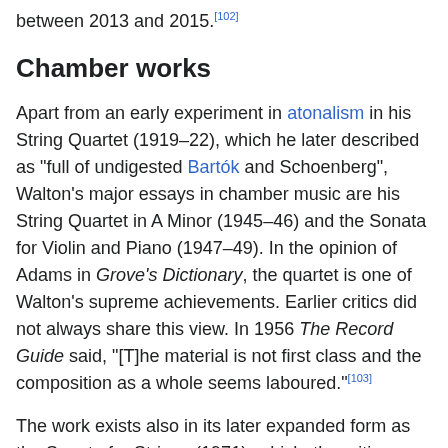between 2013 and 2015.[102]
Chamber works
Apart from an early experiment in atonalism in his String Quartet (1919–22), which he later described as "full of undigested Bartók and Schoenberg", Walton's major essays in chamber music are his String Quartet in A Minor (1945–46) and the Sonata for Violin and Piano (1947–49). In the opinion of Adams in Grove's Dictionary, the quartet is one of Walton's supreme achievements. Earlier critics did not always share this view. In 1956 The Record Guide said, "[T]he material is not first class and the composition as a whole seems laboured."[103]
The work exists also in its later expanded form as the Sonata for Strings (1971), which, the critic